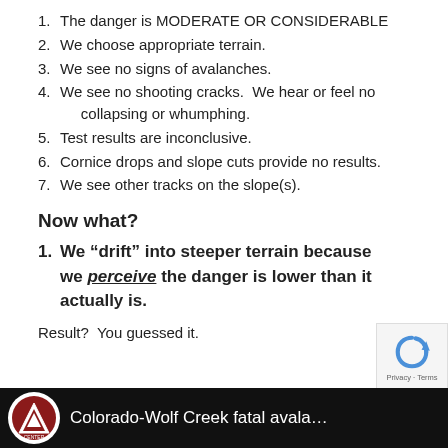1. The danger is MODERATE OR CONSIDERABLE
2. We choose appropriate terrain.
3. We see no signs of avalanches.
4. We see no shooting cracks.  We hear or feel no collapsing or whumphing.
5. Test results are inconclusive.
6. Cornice drops and slope cuts provide no results.
7. We see other tracks on the slope(s).
Now what?
1. We “drift” into steeper terrain because we perceive the danger is lower than it actually is.
Result?  You guessed it.
[Figure (screenshot): Black footer bar with circular Utah Avalanche Center logo and text: Colorado-Wolf Creek fatal avalanc...]